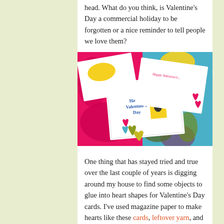head. What do you think, is Valentine's Day a commercial holiday to be forgotten or a nice reminder to tell people we love them?
[Figure (photo): Photograph of handmade Valentine's Day cards with colorful heart shapes and 'Happy Valentine's Day' text, arranged on a bright patterned fabric background]
One thing that has stayed tried and true over the last couple of years is digging around my house to find some objects to glue into heart shapes for Valentine's Day cards. I've used magazine paper to make hearts like these cards, leftover yarn, and 2012 was of course the year of shell-shaped hearts. This